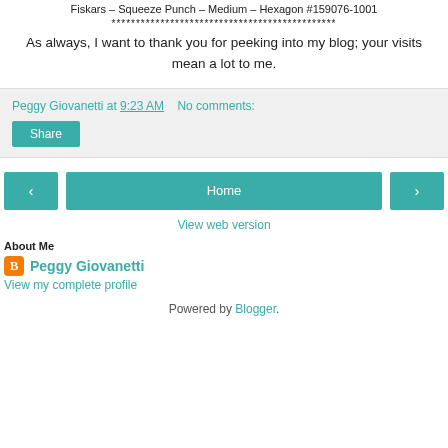Fiskars – Squeeze Punch – Medium – Hexagon #159076-1001
**********************************************
As always, I want to thank you for peeking into my blog; your visits mean a lot to me.
Peggy Giovanetti at 9:23 AM   No comments:
Share
< Home >
View web version
About Me
Peggy Giovanetti
View my complete profile
Powered by Blogger.